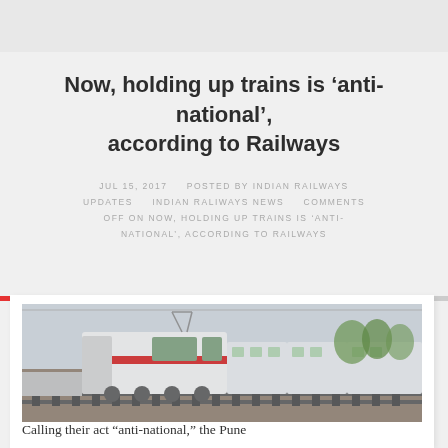Now, holding up trains is ‘anti-national’, according to Railways
JUL 15, 2017   POSTED BY INDIAN RAILWAYS UPDATES   INDIAN RALIWAYS NEWS   COMMENTS OFF ON NOW, HOLDING UP TRAINS IS ‘ANTI-NATIONAL’, ACCORDING TO RAILWAYS
[Figure (photo): Photo of an Indian Railways train locomotive (white and red) on tracks at a station, with overhead electric lines and trees in background.]
Calling their act “anti-national,” the Pune